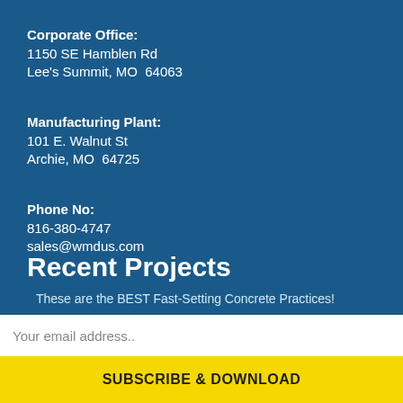Corporate Office:
1150 SE Hamblen Rd
Lee's Summit, MO  64063
Manufacturing Plant:
101 E. Walnut St
Archie, MO  64725
Phone No:
816-380-4747
sales@wmdus.com
Recent Projects
These are the BEST Fast-Setting Concrete Practices!
Your email address..
SUBSCRIBE & DOWNLOAD